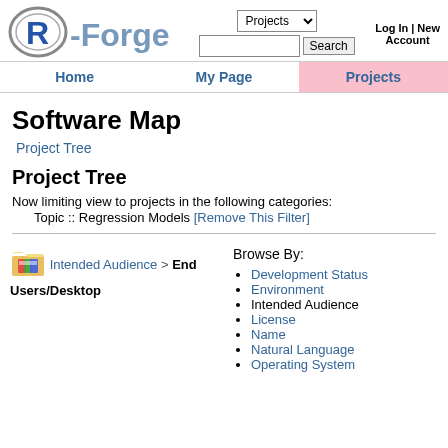[Figure (logo): R-Forge logo with R in a circle and Forge text in blue/gray]
Projects dropdown, Search input and button, Log In | New Account
Home | My Page | Projects navigation bar
Software Map
Project Tree (link)
Project Tree
Now limiting view to projects in the following categories:
    Topic :: Regression Models [Remove This Filter]
Intended Audience > End Users/Desktop (with folder icon)
Browse By:
Development Status
Environment
Intended Audience
License
Name
Natural Language
Operating System